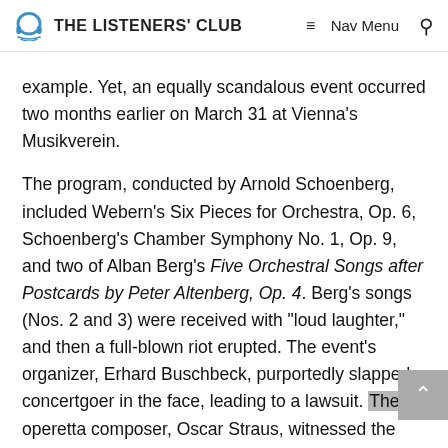THE LISTENERS' CLUB | Nav Menu | Search
example. Yet, an equally scandalous event occurred two months earlier on March 31 at Vienna's Musikverein.
The program, conducted by Arnold Schoenberg, included Webern's Six Pieces for Orchestra, Op. 6, Schoenberg's Chamber Symphony No. 1, Op. 9, and two of Alban Berg's Five Orchestral Songs after Postcards by Peter Altenberg, Op. 4. Berg's songs (Nos. 2 and 3) were received with "loud laughter," and then a full-blown riot erupted. The event's organizer, Erhard Buschbeck, purportedly slapped a concertgoer in the face, leading to a lawsuit. The operetta composer, Oscar Straus, witnessed the alleged assault and testified that the percussive